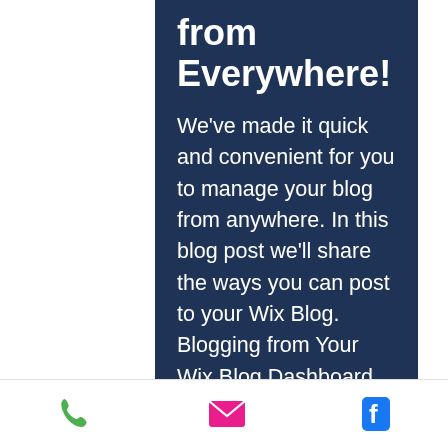from Everywhere!
We've made it quick and convenient for you to manage your blog from anywhere. In this blog post we'll share the ways you can post to your Wix Blog. Blogging from Your Wix Blog Dashboard On the dashboard, you have everything you need to manage your blog in one place. You can create new posts, set categories and more. To head to your Dashboard, open the Wix Editor and click on Blog > Posts. Blogging from Your Published Site Did you know that you can blog right from your publish
[Figure (other): Mobile app footer toolbar with three icons: green phone icon, pink/red envelope icon, blue Facebook icon]